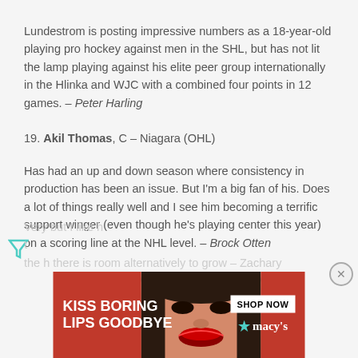Lundestrom is posting impressive numbers as a 18-year-old playing pro hockey against men in the SHL, but has not lit the lamp playing against his elite peer group internationally in the Hlinka and WJC with a combined four points in 12 games. – Peter Harling
19. Akil Thomas, C – Niagara (OHL)
Has had an up and down season where consistency in production has been an issue. But I'm a big fan of his. Does a lot of things really well and I see him becoming a terrific support winger (even though he's playing center this year) on a scoring line at the NHL level. – Brock Otten
Very... but I like h... t the h... there is room alternatively to grow – Zachary DeVins
[Figure (other): Advertisement banner: KISS BORING LIPS GOODBYE with woman's face showing red lips, SHOP NOW button, and Macy's logo]